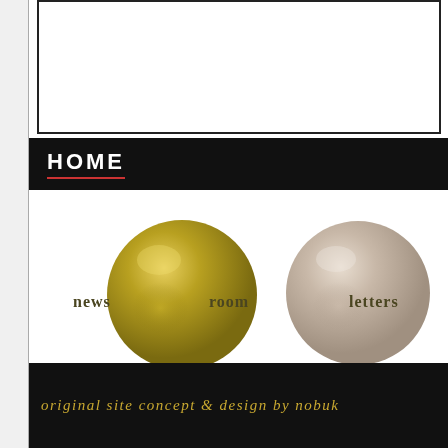[Figure (screenshot): Top white box area with border]
HOME
[Figure (illustration): Navigation area with two decorative spheres (gold and beige) flanked by text labels: NEWS, ROOM, LETTERS, FEEDBACK]
ALL CONTENT AND GRAPHICS ON THIS SI
ORIGINAL SITE CONCEPT & DESIGN BY NOBUK